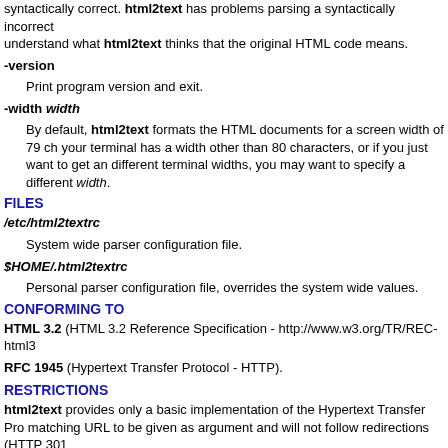syntactically correct. html2text has problems parsing a syntactically incorrect understand what html2text thinks that the original HTML code means.
-version
    Print program version and exit.
-width width
    By default, html2text formats the HTML documents for a screen width of 79 ch your terminal has a width other than 80 characters, or if you just want to get an different terminal widths, you may want to specify a different width.
FILES
/etc/html2textrc
    System wide parser configuration file.
$HOME/.html2textrc
    Personal parser configuration file, overrides the system wide values.
CONFORMING TO
HTML 3.2 (HTML 3.2 Reference Specification - http://www.w3.org/TR/REC-html3
RFC 1945 (Hypertext Transfer Protocol - HTTP).
RESTRICTIONS
html2text provides only a basic implementation of the Hypertext Transfer Pro matching URL to be given as argument and will not follow redirections (HTTP 301
html2text was written to convert HTML 3.2 documents. When using it with HTM present only in these HTML versions might not be rendered.